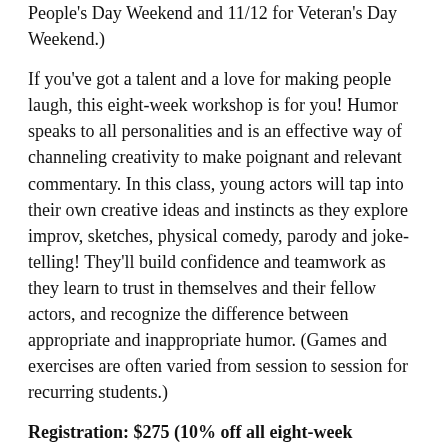People's Day Weekend and 11/12 for Veteran's Day Weekend.)
If you've got a talent and a love for making people laugh, this eight-week workshop is for you! Humor speaks to all personalities and is an effective way of channeling creativity to make poignant and relevant commentary. In this class, young actors will tap into their own creative ideas and instincts as they explore improv, sketches, physical comedy, parody and joke-telling! They'll build confidence and teamwork as they learn to trust in themselves and their fellow actors, and recognize the difference between appropriate and inappropriate humor. (Games and exercises are often varied from session to session for recurring students.)
Registration: $275 (10% off all eight-week registrations made by September 1, 2022)
Click here to register for On the Spot, Grades 3 to 5.